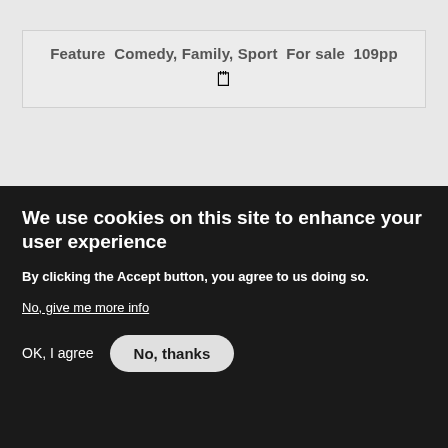Feature  Comedy, Family, Sport  For sale  109pp
[Figure (screenshot): Screenshot of 'The Steve Garry Screenplay Collection' website showing cyan bold title text on a black background with a partial silhouette of a head at the bottom]
We use cookies on this site to enhance your user experience
By clicking the Accept button, you agree to us doing so.
No, give me more info
OK, I agree
No, thanks